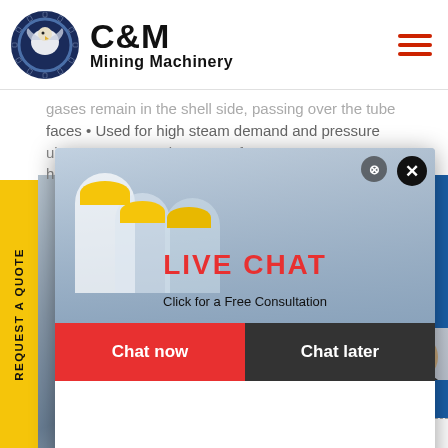C&M Mining Machinery
gases remain in the shell side, passing over the tube faces • Used for high steam demand and pressure requirements • Capacity range of 4,000 120,000 hour • C ... duced dr...
REQUEST A QUOTE
[Figure (screenshot): Live Chat popup overlay with workers wearing yellow hard hats, red LIVE CHAT text, Chat now and Chat later buttons]
Hours online
[Figure (photo): Customer service representative with headset]
Click to Chat
Enquiry